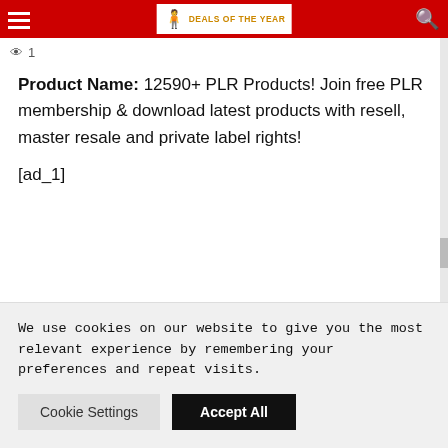DEALS OF THE YEAR
1
Product Name: 12590+ PLR Products! Join free PLR membership & download latest products with resell, master resale and private label rights!
[ad_1]
We use cookies on our website to give you the most relevant experience by remembering your preferences and repeat visits.